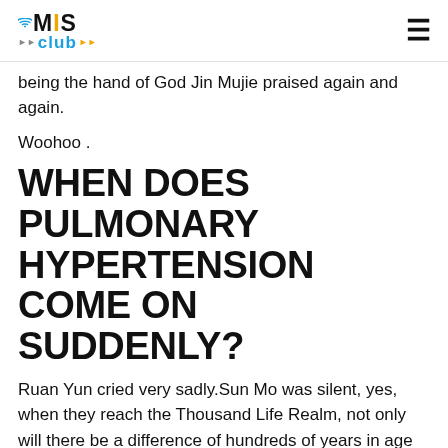MIS Club
being the hand of God Jin Mujie praised again and again.
Woohoo .
WHEN DOES PULMONARY HYPERTENSION COME ON SUDDENLY?
Ruan Yun cried very sadly.Sun Mo was silent, yes, when they reach the Thousand Life Realm, not only will there be a difference of hundreds of years in age between the two, but there will also be a natural